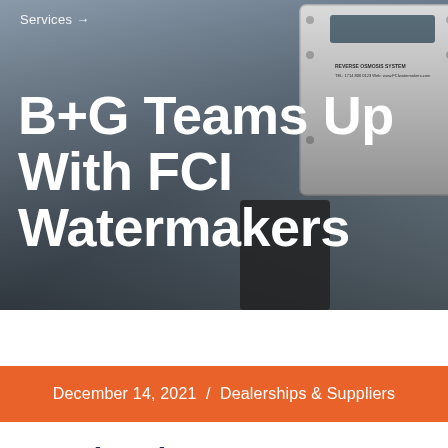Services →
B+G Teams Up With FCI Watermakers
December 14, 2021 / Dealerships & Suppliers
B+G has become an official